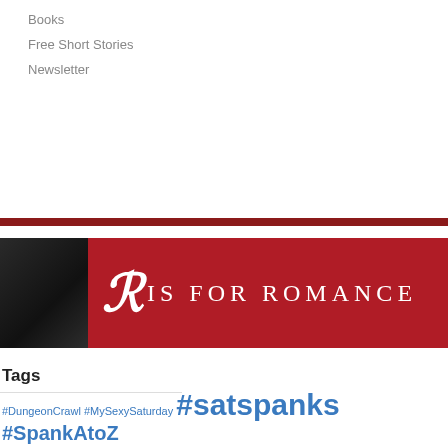Books
Free Short Stories
Newsletter
[Figure (logo): R is for Romance banner logo with dark left panel and red background with white serif text]
Tags
#DungeonCrawl #MySexySaturday #satspanks #SpankAtoZ #ticklemepink #WIPitup alien romance anticipation Ashe Barker BDSM Bound by Her Promise contemporary D/s discipline domination